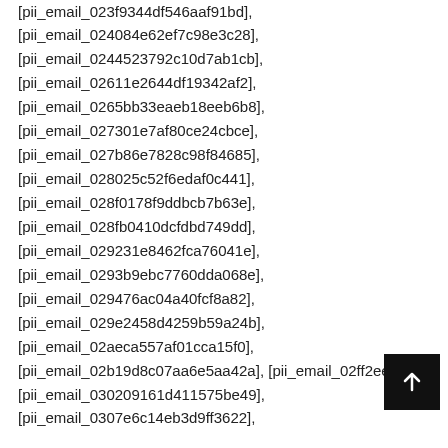[pii_email_023f9344df546aaf91bd],
[pii_email_024084e62ef7c98e3c28],
[pii_email_0244523792c10d7ab1cb],
[pii_email_02611e2644df19342af2],
[pii_email_0265bb33eaeb18eeb6b8],
[pii_email_027301e7af80ce24cbce],
[pii_email_027b86e7828c98f84685],
[pii_email_028025c52f6edaf0c441],
[pii_email_028f0178f9ddbcb7b63e],
[pii_email_028fb0410dcfdbd749dd],
[pii_email_029231e8462fca76041e],
[pii_email_0293b9ebc7760dda068e],
[pii_email_029476ac04a40fcf8a82],
[pii_email_029e2458d4259b59a24b],
[pii_email_02aeca557af01cca15f0],
[pii_email_02b19d8c07aa6e5aa42a], [pii_email_02ff2ee0…3ffb
[pii_email_030209161d411575be49],
[pii_email_0307e6c14eb3d9ff3622],